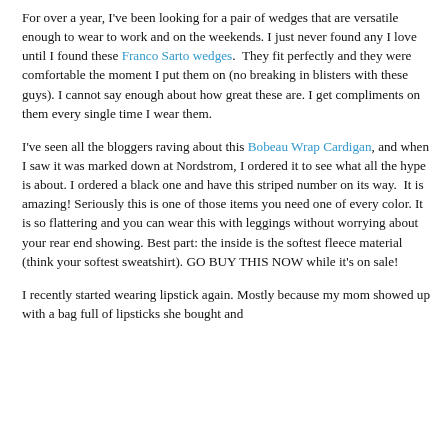For over a year, I've been looking for a pair of wedges that are versatile enough to wear to work and on the weekends. I just never found any I love until I found these Franco Sarto wedges.  They fit perfectly and they were comfortable the moment I put them on (no breaking in blisters with these guys). I cannot say enough about how great these are. I get compliments on them every single time I wear them.
I've seen all the bloggers raving about this Bobeau Wrap Cardigan, and when I saw it was marked down at Nordstrom, I ordered it to see what all the hype is about. I ordered a black one and have this striped number on its way.  It is amazing! Seriously this is one of those items you need one of every color. It is so flattering and you can wear this with leggings without worrying about your rear end showing. Best part: the inside is the softest fleece material (think your softest sweatshirt). GO BUY THIS NOW while it's on sale!
I recently started wearing lipstick again. Mostly because my mom showed up with a bag full of lipsticks she bought and